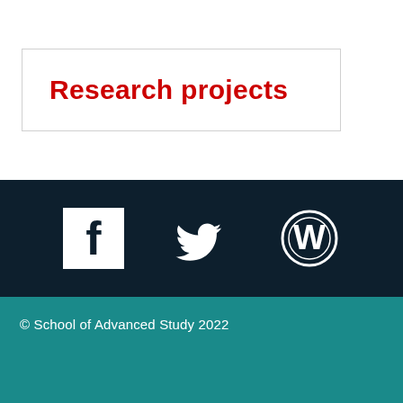Research projects
[Figure (logo): Social media icons: Facebook, Twitter, WordPress displayed in white on dark navy background]
© School of Advanced Study 2022